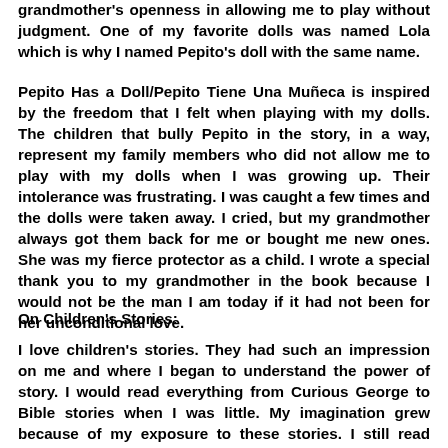grandmother's openness in allowing me to play without judgment. One of my favorite dolls was named Lola which is why I named Pepito's doll with the same name.
Pepito Has a Doll/Pepito Tiene Una Muñeca is inspired by the freedom that I felt when playing with my dolls. The children that bully Pepito in the story, in a way, represent my family members who did not allow me to play with my dolls when I was growing up. Their intolerance was frustrating. I was caught a few times and the dolls were taken away. I cried, but my grandmother always got them back for me or bought me new ones. She was my fierce protector as a child. I wrote a special thank you to my grandmother in the book because I would not be the man I am today if it had not been for her unconditional love.
On Children's Stories:
I love children's stories. They had such an impression on me and where I began to understand the power of story. I would read everything from Curious George to Bible stories when I was little. My imagination grew because of my exposure to these stories. I still read children's stories today. As a writer, it has always been a dream of mine to write my own story for a young